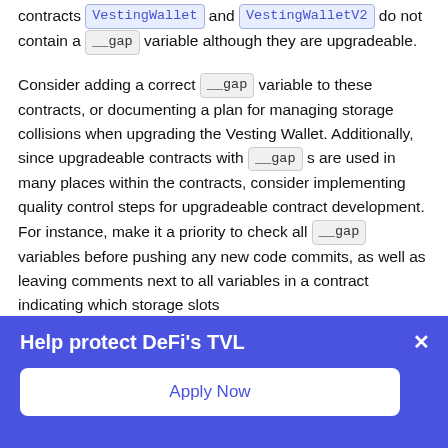contracts VestingWallet and VestingWalletV2 do not contain a __gap variable although they are upgradeable.
Consider adding a correct __gap variable to these contracts, or documenting a plan for managing storage collisions when upgrading the Vesting Wallet. Additionally, since upgradeable contracts with __gap s are used in many places within the contracts, consider implementing quality control steps for upgradeable contract development. For instance, make it a priority to check all __gap variables before pushing any new code commits, as well as leaving comments next to all variables in a contract indicating which storage slots
Help protect DeFi's TVL
Apply Now